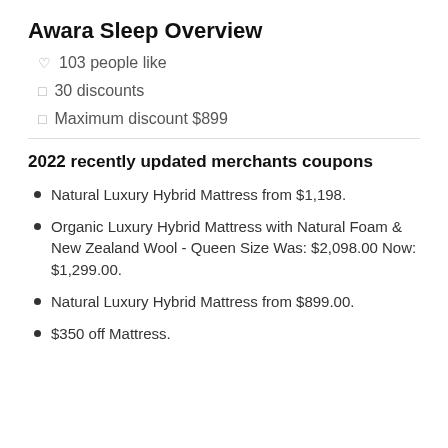Awara Sleep Overview
103 people like
30 discounts
Maximum discount $899
2022 recently updated merchants coupons
Natural Luxury Hybrid Mattress from $1,198.
Organic Luxury Hybrid Mattress with Natural Foam & New Zealand Wool - Queen Size Was: $2,098.00 Now: $1,299.00.
Natural Luxury Hybrid Mattress from $899.00.
$350 off Mattress.